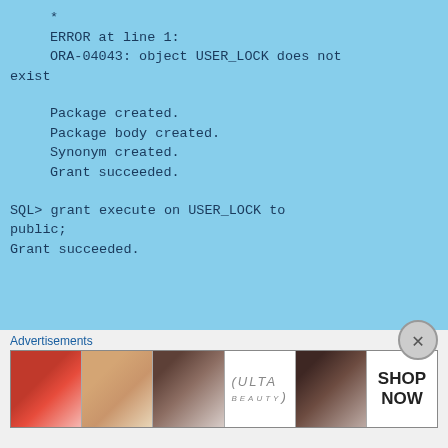*
    ERROR at line 1:
    ORA-04043: object USER_LOCK does not exist

    Package created.
    Package body created.
    Synonym created.
    Grant succeeded.

SQL> grant execute on USER_LOCK to public;
Grant succeeded.
[Figure (other): Close/dismiss button (circle with X)]
Advertisements
[Figure (photo): Advertisement banner showing cosmetic/beauty images: lips with lipstick, makeup brush, eye with makeup, ULTA beauty logo, eyes with makeup, and SHOP NOW text]